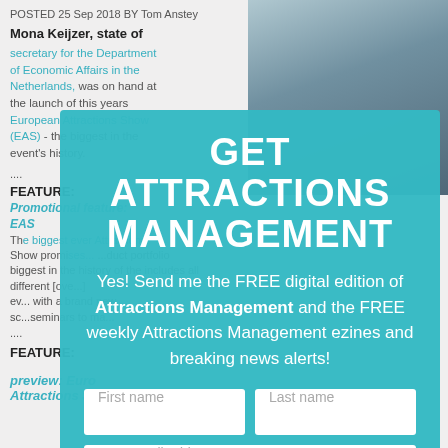POSTED 25 Sep 2018  BY Tom Anstey
Mona Keijzer, state of secretary for the Department of Economic Affairs in the Netherlands, was on hand at the launch of this years European Attractions Show (EAS) - the biggest in the event's history.
....
FEATURE:
Promotional feature: EAS
The biggest ever Attractions Show promises... biggest in the history of the ev... with a brand new sc... seminars to ma...
....
FEATURE:
preview: Euro Attractions Show
[Figure (photo): Portrait photo of a woman with dark hair]
[Figure (other): Modal overlay popup for email subscription to Attractions Management]
GET ATTRACTIONS MANAGEMENT
Yes! Send me the FREE digital edition of Attractions Management and the FREE weekly Attractions Management ezines and breaking news alerts!
First name
Last name
Your email address
SIGN ME UP